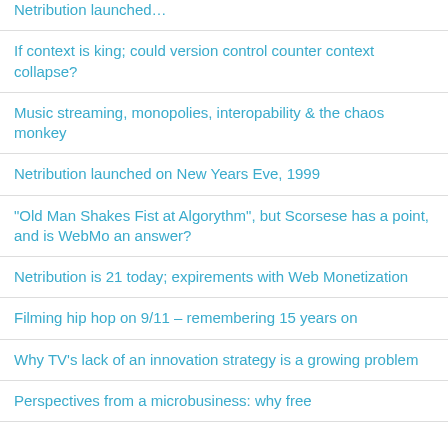Netribution launched…
If context is king; could version control counter context collapse?
Music streaming, monopolies, interopability & the chaos monkey
Netribution launched on New Years Eve, 1999
"Old Man Shakes Fist at Algorythm", but Scorsese has a point, and is WebMo an answer?
Netribution is 21 today; expirements with Web Monetization
Filming hip hop on 9/11 – remembering 15 years on
Why TV's lack of an innovation strategy is a growing problem
Perspectives from a microbusiness: why free